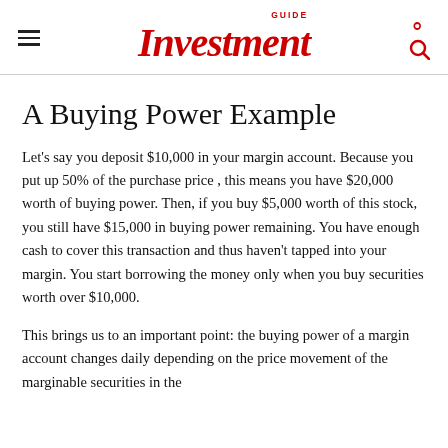GUIDE Investment
A Buying Power Example
Let's say you deposit $10,000 in your margin account. Because you put up 50% of the purchase price , this means you have $20,000 worth of buying power. Then, if you buy $5,000 worth of this stock, you still have $15,000 in buying power remaining. You have enough cash to cover this transaction and thus haven't tapped into your margin. You start borrowing the money only when you buy securities worth over $10,000.
This brings us to an important point: the buying power of a margin account changes daily depending on the price movement of the marginable securities in the